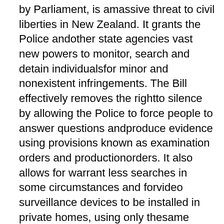by Parliament, is amassive threat to civil liberties in New Zealand. It grants the Police andother state agencies vast new powers to monitor, search and detain individualsfor minor and nonexistent infringements. The Bill effectively removes the rightto silence by allowing the Police to force people to answer questions andproduce evidence using provisions known as examination orders and productionorders. It also allows for warrant less searches in some circumstances and forvideo surveillance devices to be installed in private homes, using only thesame burden of evidence currently required by the courts for granting Police awarrant for a one off search. Saturday 24 April is a national day of protestaction against the Bill. Defend your freedom: Join the protest!
Wellington Protest March: Saturday April 24, 12:30pm, meetManners/Cuba Mall intersection